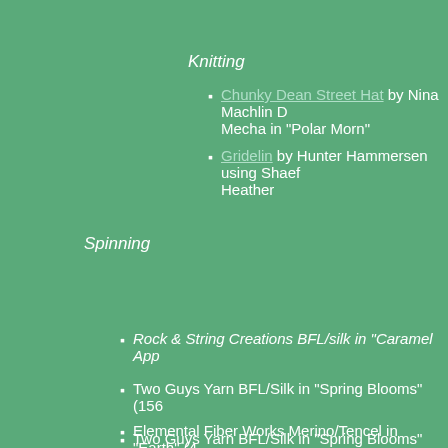Knitting
Chunky Dean Street Hat by Nina Machlin D Mecha in “Polar Morn”
Gridelin by Hunter Hammersen using Shaef Heather
Spinning
Rock & String Creations BFL/silk in “Caramel App
Two Guys Yarn BFL/Silk in “Spring Blooms” (156
Elemental Fiber Works Merino/Tencel in “Earth” (4
Bobbin leftovers (Rock & String + Elemental Fibe